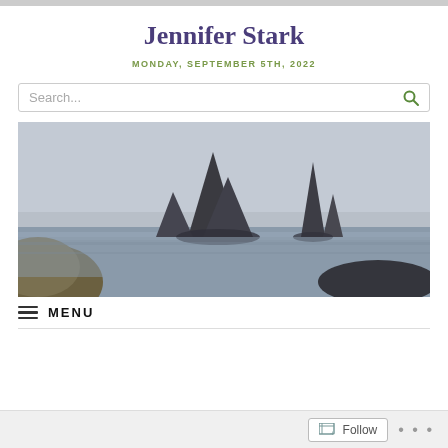Jennifer Stark
MONDAY, SEPTEMBER 5TH, 2022
[Figure (screenshot): Search bar with placeholder text 'Search...' and a magnifying glass icon on the right]
[Figure (photo): Coastal seascape with dramatic dark rock sea stacks rising from calm grey water under an overcast sky]
MENU
Follow ...